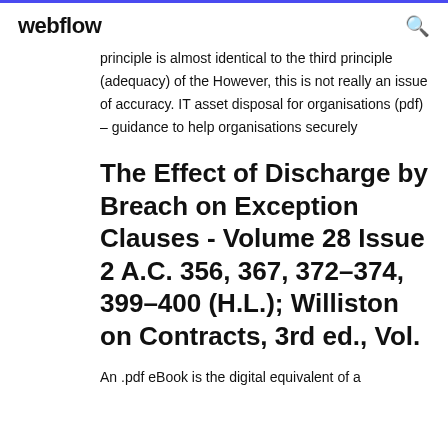webflow
principle is almost identical to the third principle (adequacy) of the However, this is not really an issue of accuracy. IT asset disposal for organisations (pdf) – guidance to help organisations securely
The Effect of Discharge by Breach on Exception Clauses - Volume 28 Issue 2 A.C. 356, 367, 372–374, 399–400 (H.L.); Williston on Contracts, 3rd ed., Vol.
An .pdf eBook is the digital equivalent of a